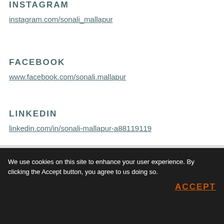INSTAGRAM
instagram.com/sonali_mallapur
FACEBOOK
www.facebook.com/sonali.mallapur
LINKEDIN
linkedin.com/in/sonali-mallapur-a88119119
We use cookies on this site to enhance your user experience. By clicking the Accept button, you agree to us doing so.
ACCEPT